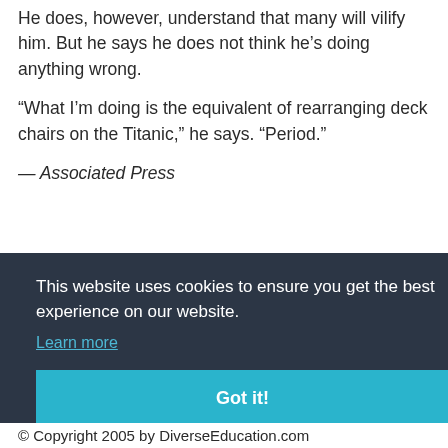He does, however, understand that many will vilify him. But he says he does not think he's doing anything wrong.
“What I’m doing is the equivalent of rearranging deck chairs on the Titanic,” he says. “Period.”
— Associated Press
This website uses cookies to ensure you get the best experience on our website.
Learn more
Got it!
© Copyright 2005 by DiverseEducation.com